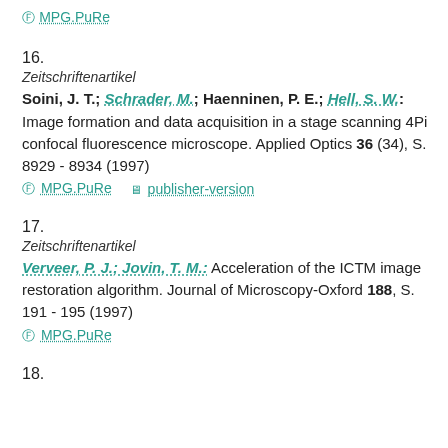MPG.PuRe
16.
Zeitschriftenartikel
Soini, J. T.; Schrader, M.; Haenninen, P. E.; Hell, S. W.: Image formation and data acquisition in a stage scanning 4Pi confocal fluorescence microscope. Applied Optics 36 (34), S. 8929 - 8934 (1997)
MPG.PuRe   publisher-version
17.
Zeitschriftenartikel
Verveer, P. J.; Jovin, T. M.: Acceleration of the ICTM image restoration algorithm. Journal of Microscopy-Oxford 188, S. 191 - 195 (1997)
MPG.PuRe
18.